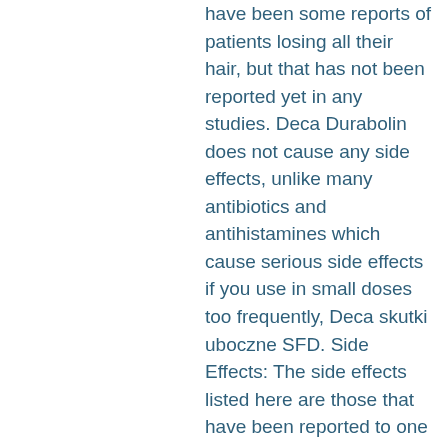have been some reports of patients losing all their hair, but that has not been reported yet in any studies. Deca Durabolin does not cause any side effects, unlike many antibiotics and antihistamines which cause serious side effects if you use in small doses too frequently, Deca skutki uboczne SFD. Side Effects: The side effects listed here are those that have been reported to one or more human beings and are not necessarily shared by the cosmetic professionals that prescribe this treatment. They also include side effects of the drug that have not been reported in any human studies, Deca Durabolin pills.
Dosage: Deca Durabolin is not intended to be used as a cosmetic or prescription drug. If the patient is in serious trouble, call a doctor.
Deca Durabil, is a topical steroid that works in the same way as an anti-acne cream.